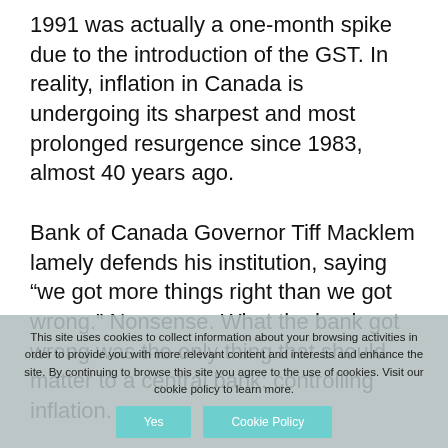1991 was actually a one-month spike due to the introduction of the GST. In reality, inflation in Canada is undergoing its sharpest and most prolonged resurgence since 1983, almost 40 years ago.

Bank of Canada Governor Tiff Macklem lamely defends his institution, saying “we got more things right than we got wrong.” Nonsense. What the bank got wrong was the only thing that should matter to a central bank: controlling inflation.

Macklem should follow former Fed Chair William Martin in acknowledging he has made a mistake. When Martin retired in 1970 with inflation running at 4.7 per cent, he frankly admitted at his farewell luncheon:
This site uses cookies to collect information about your browsing activities in order to provide you with more relevant content and interests and enhance the site. By continuing to browse this site you agree to the use of cookies. Visit our cookie policy to learn more.